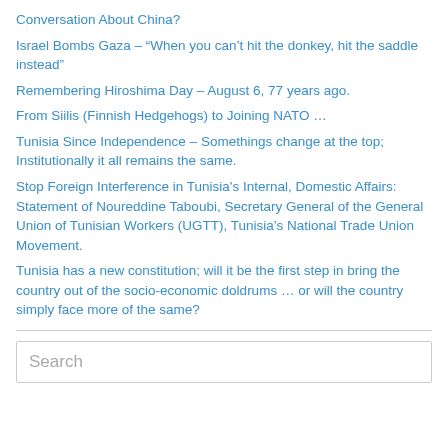Conversation About China?
Israel Bombs Gaza – “When you can’t hit the donkey, hit the saddle instead”
Remembering Hiroshima Day – August 6, 77 years ago.
From Siilis (Finnish Hedgehogs) to Joining NATO …
Tunisia Since Independence – Somethings change at the top; Institutionally it all remains the same.
Stop Foreign Interference in Tunisia's Internal, Domestic Affairs: Statement of Noureddine Taboubi, Secretary General of the General Union of Tunisian Workers (UGTT), Tunisia’s National Trade Union Movement.
Tunisia has a new constitution; will it be the first step in bring the country out of the socio-economic doldrums … or will the country simply face more of the same?
Search